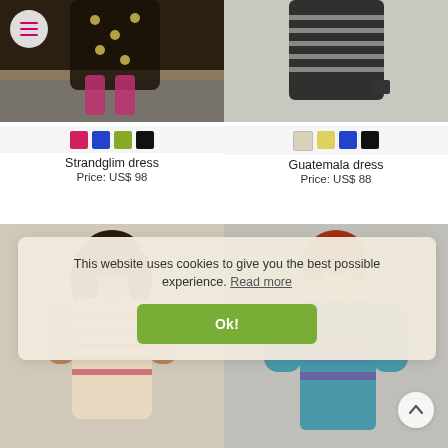[Figure (photo): Model wearing Strandglim dress (dark floral pattern) on a beach, with pink/magenta tights]
[Figure (photo): Model wearing Guatemala dress (black and white patterned) holding a camera]
Strandglim dress
Price: US$ 98
Guatemala dress
Price: US$ 88
[Figure (photo): Model wearing a colorful patterned top/dress with floral and stripe motifs, dark hair]
[Figure (photo): Model wearing a colorful printed dress with teal, purple, and pink tones, red hair]
This website uses cookies to give you the best possible experience. Read more
Ok!